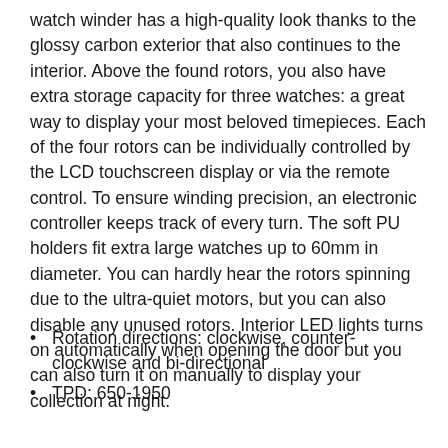watch winder has a high-quality look thanks to the glossy carbon exterior that also continues to the interior. Above the found rotors, you also have extra storage capacity for three watches: a great way to display your most beloved timepieces. Each of the four rotors can be individually controlled by the LCD touchscreen display or via the remote control. To ensure winding precision, an electronic controller keeps track of every turn. The soft PU holders fit extra large watches up to 60mm in diameter. You can hardly hear the rotors spinning due to the ultra-quiet motors, but you can also disable any unused rotors. Interior LED lights turns on automatically when opening the door but you can also turn it on manually to display your collection at night.
Rotation directions: clockwise, counter-clockwise and bi-directional
TPD: 650-1950